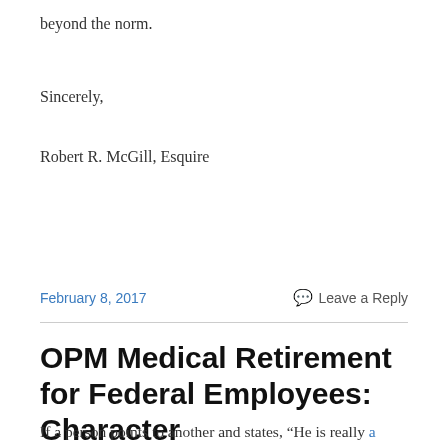beyond the norm.
Sincerely,
Robert R. McGill, Esquire
February 8, 2017    Leave a Reply
OPM Medical Retirement for Federal Employees: Character
If a person points to another and states, “He is really a character”, is it different from positing: “He really has character”? Can both statements mean the same, or is the subtle difference there to denote? The former is